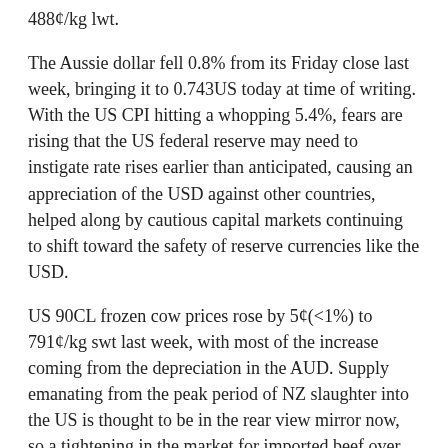488¢/kg lwt.
The Aussie dollar fell 0.8% from its Friday close last week, bringing it to 0.743US today at time of writing. With the US CPI hitting a whopping 5.4%, fears are rising that the US federal reserve may need to instigate rate rises earlier than anticipated, causing an appreciation of the USD against other countries, helped along by cautious capital markets continuing to shift toward the safety of reserve currencies like the USD.
US 90CL frozen cow prices rose by 5¢(<1%) to 791¢/kg swt last week, with most of the increase coming from the depreciation in the AUD. Supply emanating from the peak period of NZ slaughter into the US is thought to be in the rear view mirror now, so a tightening in the market for imported beef over the next few months can be expected as a result. However, a steady trend of continued weekly depreciation in the US choice cut-out could be a sign of weakening US beef demand.